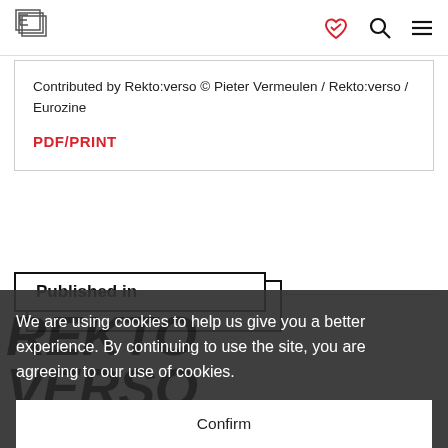[Figure (logo): Eurozine stacked pages logo icon]
[Figure (other): Nav icons: handshake heart icon, search icon, hamburger menu icon]
Contributed by Rekto:verso © Pieter Vermeulen / Rekto:verso / Eurozine
PDF/PRINT
Published in
We are using cookies to help us give you a better experience. By continuing to use the site, you are agreeing to our use of cookies.
Confirm